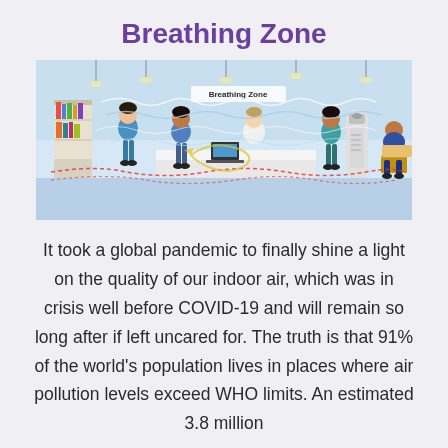Breathing Zone
[Figure (illustration): An illustrated indoor scene showing an office or medical reception area with multiple people. Wavy lines (representing airflow/breathing zones) are shown traveling through the space. A label at the top of the illustration reads 'Breathing Zone'. The scene includes people at a reception desk, a person with a bookshelf, and a person seated in a waiting area. A tall air purifier is visible. Red dotted lines near the floor and blue/white wavy lines above represent different airflow patterns.]
It took a global pandemic to finally shine a light on the quality of our indoor air, which was in crisis well before COVID-19 and will remain so long after if left uncared for. The truth is that 91% of the world's population lives in places where air pollution levels exceed WHO limits. An estimated 3.8 million